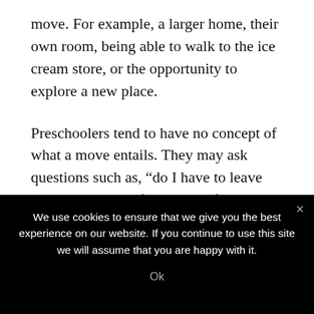move. For example, a larger home, their own room, being able to walk to the ice cream store, or the opportunity to explore a new place.
Preschoolers tend to have no concept of what a move entails. They may ask questions such as, “do I have to leave my pets and toys for the new family?” Answer their questions and reassure them.
We use cookies to ensure that we give you the best experience on our website. If you continue to use this site we will assume that you are happy with it.